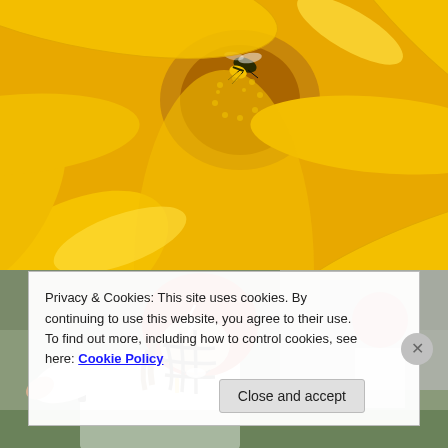[Figure (photo): Close-up macro photo of a yellow flower (sunflower-like) with a bee/wasp on the center, yellow petals filling the frame.]
[Figure (photo): Softball or baseball player wearing a red batting helmet with face guard and white uniform, smiling, leaning forward. Another player with red helmet visible in background.]
Privacy & Cookies: This site uses cookies. By continuing to use this website, you agree to their use.
To find out more, including how to control cookies, see here: Cookie Policy
Close and accept